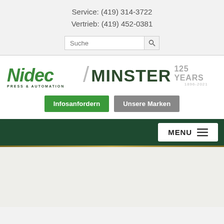Service: (419) 314-3722
Vertrieb: (419) 452-0381
[Figure (screenshot): Search input field with search icon button]
[Figure (logo): Nidec Press & Automation / Minster 125 Years 1896-2021 logo]
Infosanfordern   Unsere Marken
MENU
[Figure (other): Gold horizontal line divider]